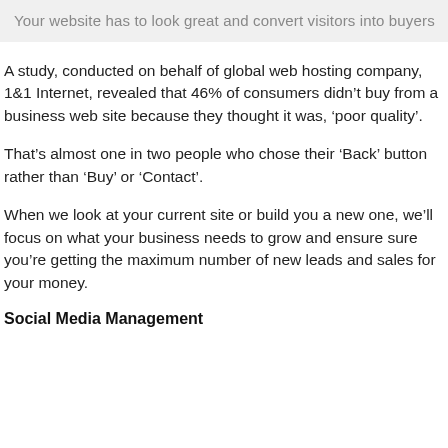Your website has to look great and convert visitors into buyers
A study, conducted on behalf of global web hosting company, 1&1 Internet, revealed that 46% of consumers didn't buy from a business web site because they thought it was, 'poor quality'.
That's almost one in two people who chose their 'Back' button rather than 'Buy' or 'Contact'.
When we look at your current site or build you a new one, we'll focus on what your business needs to grow and ensure sure you're getting the maximum number of new leads and sales for your money.
Social Media Management